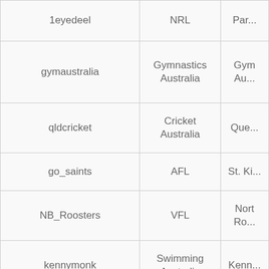| Username | Sport/League | Account |
| --- | --- | --- |
| 1eyedeel | NRL | Par... |
| gymaustralia | Gymnastics Australia | Gym Au... |
| qldcricket | Cricket Australia | Que... |
| go_saints | AFL | St. Ki... |
| NB_Roosters | VFL | North Ro... |
| kennymonk | Swimming Australia | Kenn... |
| s14_force | Super 14 | W Austr (W F... |
| WNBL | WNBL | W... |
| DarrenNg8 | NBL | Adela... |
| BionicSwan | AFL | Sydn... |